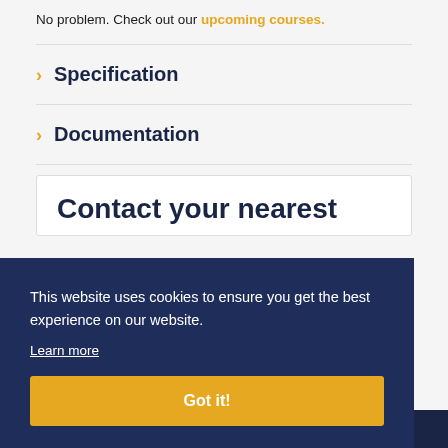No problem. Check out our upcoming courses.
Specification
Documentation
Contact your nearest
This website uses cookies to ensure you get the best experience on our website.
Learn more
Got it!
newcastle.warrenaccess.co.uk